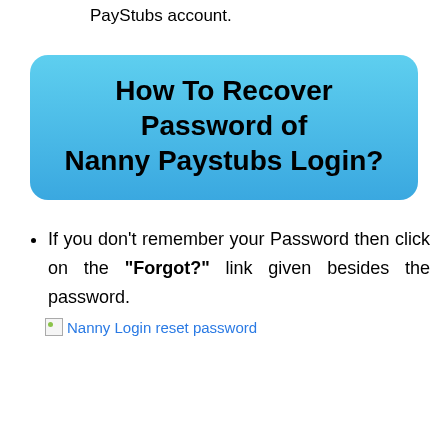PayStubs account.
How To Recover Password of Nanny Paystubs Login?
If you don’t remember your Password then click on the “Forgot?” link given besides the password.
[Figure (photo): Broken image placeholder with alt text: Nanny Login reset password]